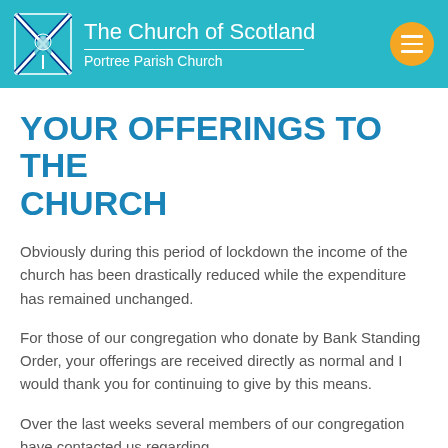The Church of Scotland | Portree Parish Church
YOUR OFFERINGS TO THE CHURCH
Obviously during this period of lockdown the income of the church has been drastically reduced while the expenditure has remained unchanged.
For those of our congregation who donate by Bank Standing Order, your offerings are received directly as normal and I would thank you for continuing to give by this means.
Over the last weeks several members of our congregation have contacted us regarding...